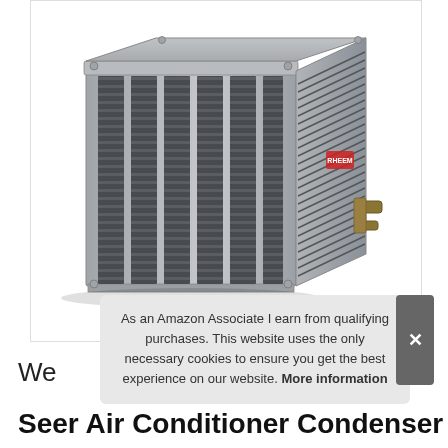[Figure (photo): Air conditioner condenser unit, silver/grey metal housing with louvered vents on front and side panels, brass refrigerant line connections visible on right side, corner bolt covers, on white background]
As an Amazon Associate I earn from qualifying purchases. This website uses the only necessary cookies to ensure you get the best experience on our website. More information
We
Seer Air Conditioner Condenser